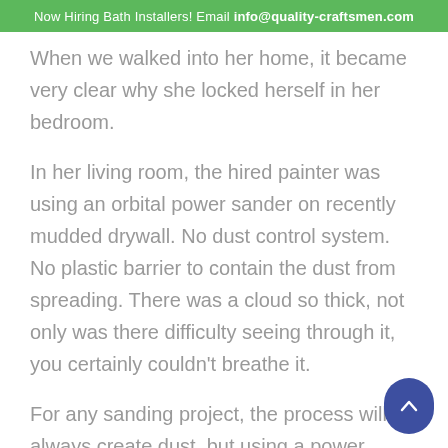Now Hiring Bath Installers! Email info@quality-craftsmen.com
When we walked into her home, it became very clear why she locked herself in her bedroom.
In her living room, the hired painter was using an orbital power sander on recently mudded drywall. No dust control system. No plastic barrier to contain the dust from spreading. There was a cloud so thick, not only was there difficulty seeing through it, you certainly couldn't breathe it.
For any sanding project, the process will always create dust, but using a power sander increases the amount of particles released into the air! Respiratory distress can occur if measures aren't taken to limit dust